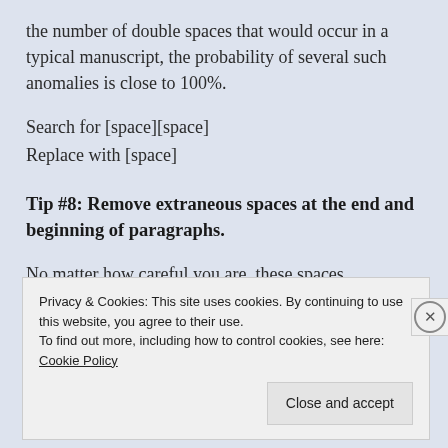the number of double spaces that would occur in a typical manuscript, the probability of several such anomalies is close to 100%.
Search for [space][space]
Replace with [space]
Tip #8: Remove extraneous spaces at the end and beginning of paragraphs.
No matter how careful you are, these spaces
Privacy & Cookies: This site uses cookies. By continuing to use this website, you agree to their use.
To find out more, including how to control cookies, see here: Cookie Policy
Close and accept